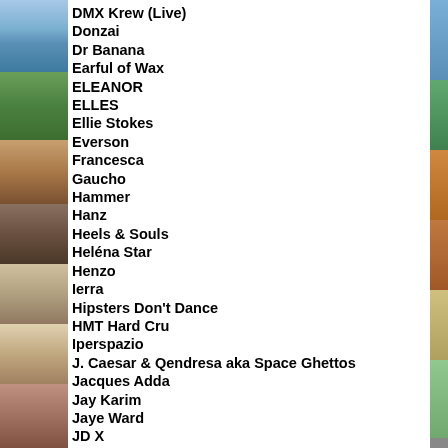DMX Krew (Live)
Donzai
Dr Banana
Earful of Wax
ELEANOR
ELLES
Ellie Stokes
Everson
Francesca
Gaucho
Hammer
Hanz
Heels & Souls
Heléna Star
Henzo
Ierra
Hipsters Don't Dance
HMT Hard Cru
Iperspazio
J. Caesar & Qendresa aka Space Ghettos
Jacques Adda
Jay Karim
Jaye Ward
JD X
Jessica
Jhobei
Joe Armon-Jones & Maxwell Owin
Joe Ellis
Jojo Jones
Joly